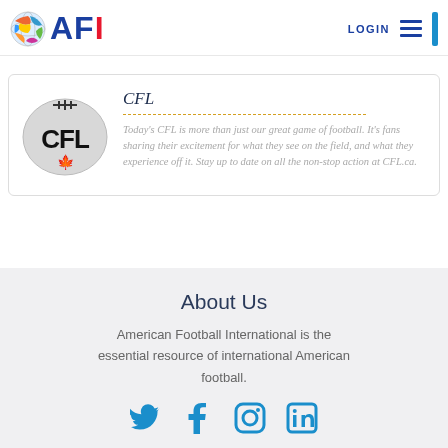AFI - American Football International - LOGIN
[Figure (logo): CFL logo: grey football shape with CFL text in bold and small maple leaf at bottom]
CFL
Today's CFL is more than just our great game of football. It's fans sharing their excitement for what they see on the field, and what they experience off it. Stay up to date on all the non-stop action at CFL.ca.
About Us
American Football International is the essential resource of international American football.
[Figure (other): Social media icons: Twitter, Facebook, Instagram, LinkedIn]